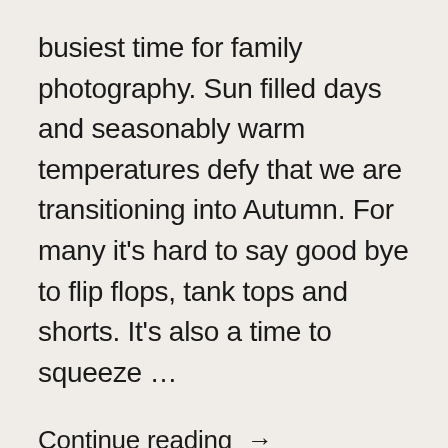busiest time for family photography. Sun filled days and seasonably warm temperatures defy that we are transitioning into Autumn. For many it’s hard to say good bye to flip flops, tank tops and shorts. It’s also a time to squeeze …
Continue reading →
Share: